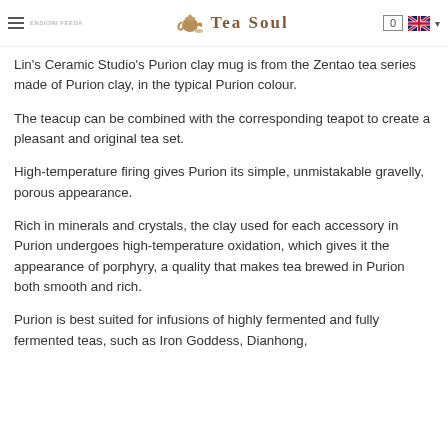Tea Soul — navigation header with hamburger menu, logo, cart (0), and UK flag language selector
Lin's Ceramic Studio's Purion clay mug is from the Zentao tea series made of Purion clay, in the typical Purion colour.
The teacup can be combined with the corresponding teapot to create a pleasant and original tea set.
High-temperature firing gives Purion its simple, unmistakable gravelly, porous appearance.
Rich in minerals and crystals, the clay used for each accessory in Purion undergoes high-temperature oxidation, which gives it the appearance of porphyry, a quality that makes tea brewed in Purion both smooth and rich.
Purion is best suited for infusions of highly fermented and fully fermented teas, such as Iron Goddess, Dianhong,